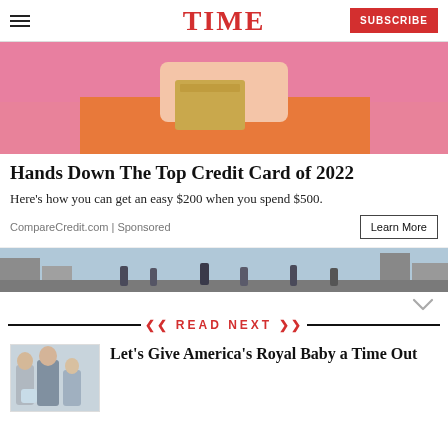TIME | SUBSCRIBE
[Figure (photo): Woman in orange top holding a gold credit card in front of her face against a pink background]
Hands Down The Top Credit Card of 2022
Here's how you can get an easy $200 when you spend $500.
CompareCredit.com | Sponsored
[Figure (photo): City street scene with people walking, urban buildings in background]
READ NEXT
[Figure (photo): Group of people posing for photo, royal baby article thumbnail]
Let's Give America's Royal Baby a Time Out